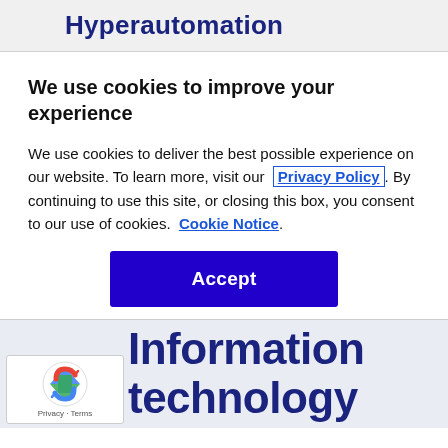Hyperautomation
We use cookies to improve your experience
We use cookies to deliver the best possible experience on our website. To learn more, visit our  Privacy Policy . By continuing to use this site, or closing this box, you consent to our use of cookies.  Cookie Notice .
[Figure (other): Accept button - a dark blue/indigo rectangular button with white bold text reading 'Accept']
Information technology conferences
[Figure (other): reCAPTCHA badge with logo and 'Privacy · Terms' text]